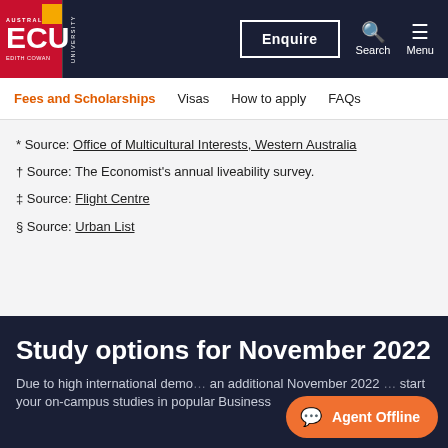[Figure (logo): ECU Edith Cowan University logo - red block with ECU text, yellow accent, dark sidebar with UNIVERSITY text vertical]
Enquire | Search | Menu
Fees and Scholarships   Visas   How to apply   FAQs
* Source: Office of Multicultural Interests, Western Australia
† Source: The Economist's annual liveability survey.
‡ Source: Flight Centre
§ Source: Urban List
Study options for November 2022
Due to high international dema... an additional November 2022 ... start your on-campus studies in popular Business...